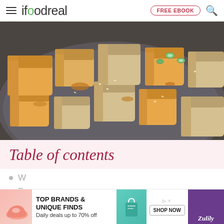ifoodreal — FREE EBOOK
[Figure (photo): Close-up photo of golden-brown pan-fried tofu cubes on a dark plate, garnished with sesame seeds and sliced green onions]
Table of contents
W...
Pa...
[Figure (other): Advertisement banner: TOP BRANDS & UNIQUE FINDS — Daily deals up to 70% off — SHOP NOW — Zulily]